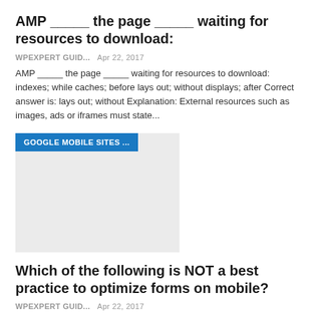AMP _____ the page _____ waiting for resources to download:
WPEXPERT GUID...   Apr 22, 2017
AMP _____ the page _____ waiting for resources to download: indexes; while caches; before lays out; without displays; after Correct answer is: lays out; without Explanation: External resources such as images, ads or iframes must state...
[Figure (screenshot): Thumbnail image with blue label badge reading 'GOOGLE MOBILE SITES ...' on a light gray background]
Which of the following is NOT a best practice to optimize forms on mobile?
WPEXPERT GUID...   Apr 22, 2017
Which of the following is NOT a best practice to optimize forms on mobile? Exposing options instead of using a drop-down menu Using a